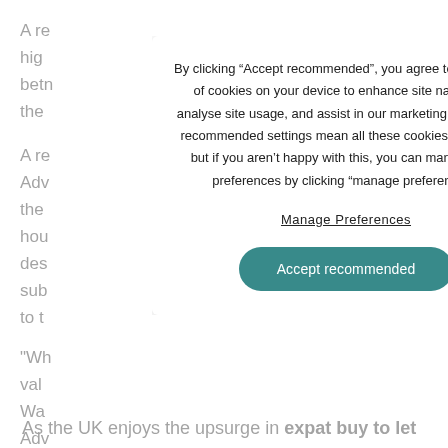A re
hig
bet
the

A re
Adv
the
hou
des
sub
to t

"Wh
val
Wa
Adv
wo
old
By clicking “Accept recommended”, you agree to the storing of cookies on your device to enhance site navigation, analyse site usage, and assist in our marketing efforts. Our recommended settings mean all these cookies are active, but if you aren’t happy with this, you can manage your preferences by clicking "manage preferences".
Manage Preferences
Accept recommended
As the UK enjoys the upsurge in expat buy to let